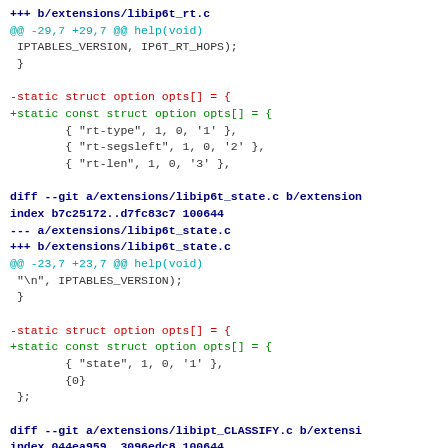+++ b/extensions/libip6t_rt.c
@@ -29,7 +29,7 @@ help(void)
 IPTABLES_VERSION, IP6T_RT_HOPS);
 }

-static struct option opts[] = {
+static const struct option opts[] = {
        { "rt-type", 1, 0, '1' },
        { "rt-segsleft", 1, 0, '2' },
        { "rt-len", 1, 0, '3' },

diff --git a/extensions/libip6t_state.c b/extension
index b7c25172..d7fc83c7 100644
--- a/extensions/libip6t_state.c
+++ b/extensions/libip6t_state.c
@@ -23,7 +23,7 @@ help(void)
 "\n", IPTABLES_VERSION);
 }

-static struct option opts[] = {
+static const struct option opts[] = {
        { "state", 1, 0, '1' },
        {0}
 };

diff --git a/extensions/libipt_CLASSIFY.c b/extensi
index 044ea959..3096edc8 100644
--- a/extensions/libipt_CLASSIFY.c
+++ b/extensions/libipt_CLASSIFY.c
@@ -21,7 +21,7 @@ help(void)